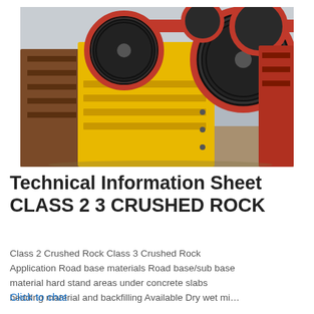[Figure (photo): Industrial jaw crusher machines painted yellow with large black and red flywheel pulleys, photographed in a factory or yard setting.]
Technical Information Sheet CLASS 2 3 CRUSHED ROCK
Class 2 Crushed Rock Class 3 Crushed Rock Application Road base materials Road base/sub base material hard stand areas under concrete slabs bedding material and backfilling Available Dry wet mi...
Click to chat